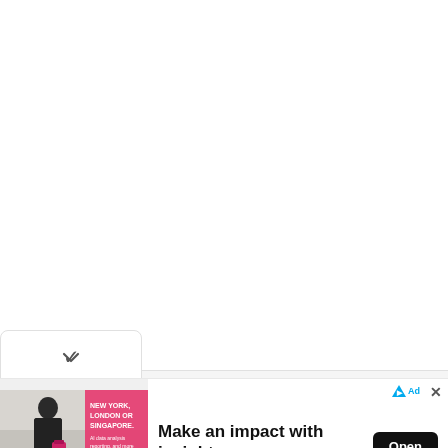[Figure (other): Large white blank area at the top of the page]
[Figure (other): Dropdown button with chevron/down-arrow icon, white rounded rectangle with border]
[Figure (other): Advertisement banner. Left side shows an ad image with a man in a suit with luggage in an airport setting, with pink/red graphic overlay and text NEW YORK, LONDON OR SINGAPORE with additional small text, and a dark bar at the bottom with Sense Forth logo. Right side shows bold headline text Make an impact with insights., subtext Conversational Assistant for Data & Insights, and a black Open button. Top right shows ad indicator triangle icon and X close button.]